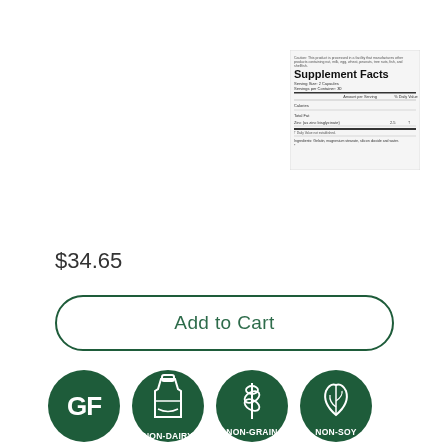[Figure (other): Supplement Facts panel image showing nutrition label with serving size, calories, and ingredients information]
$34.65
Add to Cart
[Figure (infographic): Four green circular badges: GF (Gluten Free), NON-DAIRY, NON-GRAIN, NON-SOY]